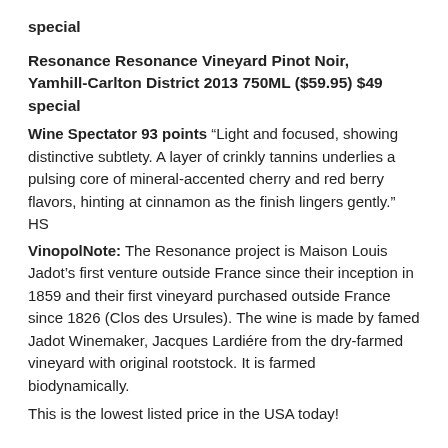special
Resonance Resonance Vineyard Pinot Noir, Yamhill-Carlton District 2013 750ML ($59.95) $49 special
Wine Spectator 93 points “Light and focused, showing distinctive subtlety. A layer of crinkly tannins underlies a pulsing core of mineral-accented cherry and red berry flavors, hinting at cinnamon as the finish lingers gently.” HS
VinopolNote: The Resonance project is Maison Louis Jadot’s first venture outside France since their inception in 1859 and their first vineyard purchased outside France since 1826 (Clos des Ursules). The wine is made by famed Jadot Winemaker, Jacques Lardiére from the dry-farmed vineyard with original rootstock. It is farmed biodynamically.
This is the lowest listed price in the USA today!